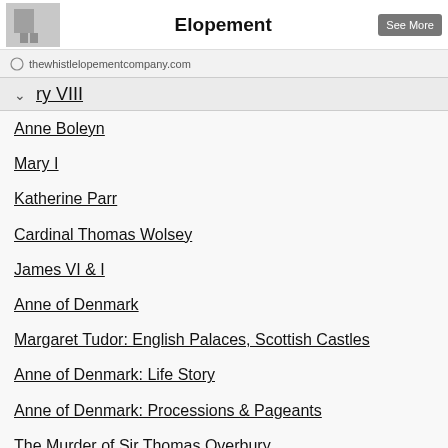Elopement
thewhistlelopementcompany.com
ry VIII
Anne Boleyn
Mary I
Katherine Parr
Cardinal Thomas Wolsey
James VI & I
Anne of Denmark
Margaret Tudor: English Palaces, Scottish Castles
Anne of Denmark: Life Story
Anne of Denmark: Processions & Pageants
The Murder of Sir Thomas Overbury
Six Wives with Lucy Worsley: Episode Two (A Review)
Guest Articles & Interviews
The King's Pearl: Henry VIII and his daughter Mary
Mary, Queen of France: From Royal Court to Rural Suffolk